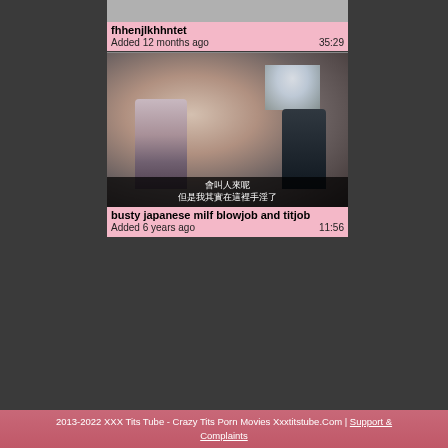[Figure (screenshot): Video thumbnail placeholder (top card)]
fhhenjlkhhntet
Added 12 months ago   35:29
[Figure (screenshot): Video thumbnail showing two people in a dark room with Chinese subtitle text: 會叫人來呢 / 但是我其實在這裡手淫了]
busty japanese milf blowjob and titjob
Added 6 years ago   11:56
2013-2022 XXX Tits Tube - Crazy Tits Porn Movies Xxxtitstube.Com | Support & Complaints